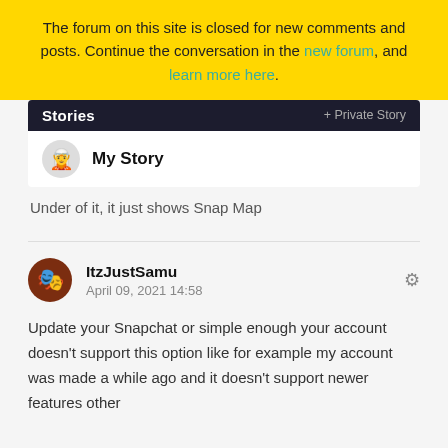The forum on this site is closed for new comments and posts. Continue the conversation in the new forum, and learn more here.
[Figure (screenshot): Snapchat Stories screen showing 'My Story' with a bitmoji avatar icon, dark background header with 'Stories' and '+ Private Story' labels]
Under of it, it just shows Snap Map
ItzJustSamu
April 09, 2021 14:58
Update your Snapchat or simple enough your account doesn't support this option like for example my account was made a while ago and it doesn't support newer features other